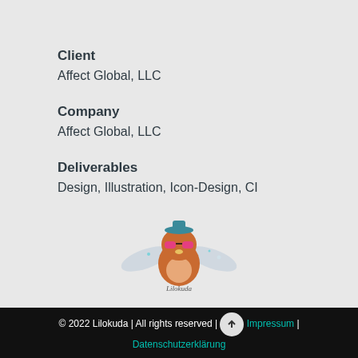Client
Affect Global, LLC
Company
Affect Global, LLC
Deliverables
Design, Illustration, Icon-Design, CI
[Figure (logo): Lilokuda mascot logo — a cartoon owl/bird character with pink sunglasses and wings, with stylized signature text below]
© 2022 Lilokuda | All rights reserved | Impressum | Datenschutzerklärung